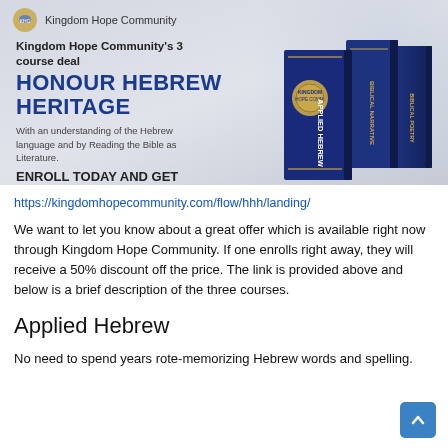[Figure (infographic): Kingdom Hope Community banner ad showing 3 navy blue books (Applied Hebrew, Biblical Narrative, Hebrew Poetry) with logo, subtitle 'Kingdom Hope Community's 3 course deal', large heading 'HONOUR HEBREW HERITAGE', description about Hebrew language and Bible reading, and call to action 'ENROLL TODAY AND GET 50% OFF']
https://kingdomhopecommunity.com/flow/hhh/landing/
We want to let you know about a great offer which is available right now through Kingdom Hope Community. If one enrolls right away, they will receive a 50% discount off the price. The link is provided above and below is a brief description of the three courses.
Applied Hebrew
No need to spend years rote-memorizing Hebrew words and spelling.